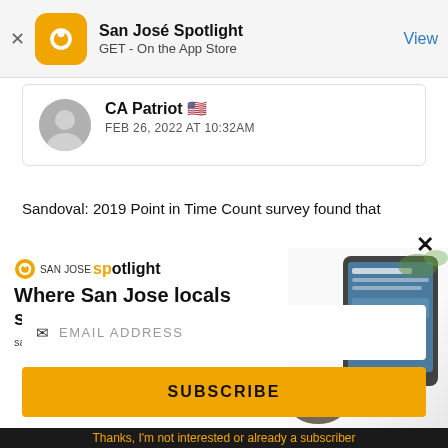San José Spotlight — GET - On the App Store — View
CA Patriot 🇺🇸
FEB 26, 2022 AT 10:32AM
Sandoval: 2019 Point in Time Count survey found that
[Figure (screenshot): San José Spotlight advertisement: logo, headline 'Where San Jose locals start the day.', url sanjosespotlight.com, with tablet device image on right side]
EMAIL ADDRESS
SUBSCRIBE
Thanks, I'm not interested or already a subscriber